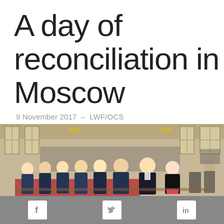A day of reconciliation in Moscow
9 November 2017  –  LWF/OCS
[Figure (photo): A large group of dignitaries and attendees seated in pews inside a church or formal hall. Several men in suits occupy the front rows, along with a bishop and a woman in black with a pink scarf. The hall has tall windows and chandeliers.]
Facebook  Twitter  LinkedIn social share icons